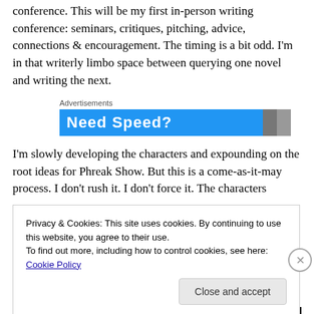conference. This will be my first in-person writing conference: seminars, critiques, pitching, advice, connections & encouragement. The timing is a bit odd. I'm in that writerly limbo space between querying one novel and writing the next.
[Figure (other): Advertisement banner: blue background with text 'Need Speed?' and a partial image on the right.]
I'm slowly developing the characters and expounding on the root ideas for Phreak Show. But this is a come-as-it-may process. I don't rush it. I don't force it. The characters
Privacy & Cookies: This site uses cookies. By continuing to use this website, you agree to their use.
To find out more, including how to control cookies, see here: Cookie Policy